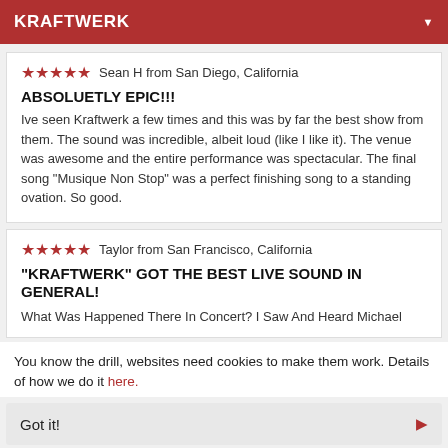KRAFTWERK
★★★★★  Sean H from San Diego, California
ABSOLUETLY EPIC!!!
Ive seen Kraftwerk a few times and this was by far the best show from them. The sound was incredible, albeit loud (like I like it). The venue was awesome and the entire performance was spectacular. The final song "Musique Non Stop" was a perfect finishing song to a standing ovation. So good.
★★★★★  Taylor from San Francisco, California
"KRAFTWERK" GOT THE BEST LIVE SOUND IN GENERAL!
What Was Happened There In Concert? I Saw And Heard Michael
You know the drill, websites need cookies to make them work. Details of how we do it here.
Got it!